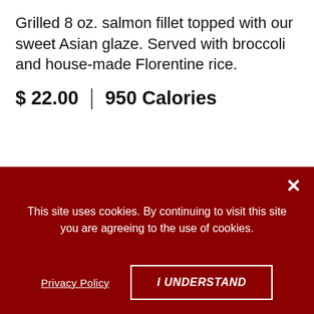Grilled 8 oz. salmon fillet topped with our sweet Asian glaze. Served with broccoli and house-made Florentine rice.
$ 22.00 | 950 Calories
[Figure (photo): A white plate with fries, a small dipping sauce bowl, and broccoli]
This site uses cookies. By continuing to visit this site you are agreeing to the use of cookies.
Privacy Policy
I UNDERSTAND